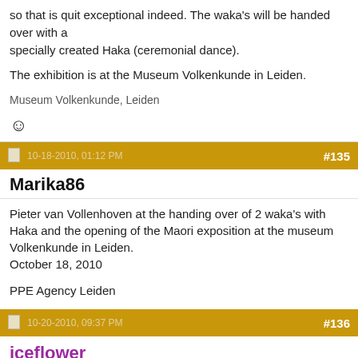so that is quit exceptional indeed. The waka's will be handed over with a specially created Haka (ceremonial dance).

The exhibition is at the Museum Volkenkunde in Leiden.
Museum Volkenkunde, Leiden
☺
10-18-2010, 01:12 PM  #135
Marika86
Pieter van Vollenhoven at the handing over of 2 waka's with Haka and the opening of the Maori exposition at the museum Volkenkunde in Leiden.
October 18, 2010

PPE Agency Leiden
10-20-2010, 09:37 PM  #136
iceflower